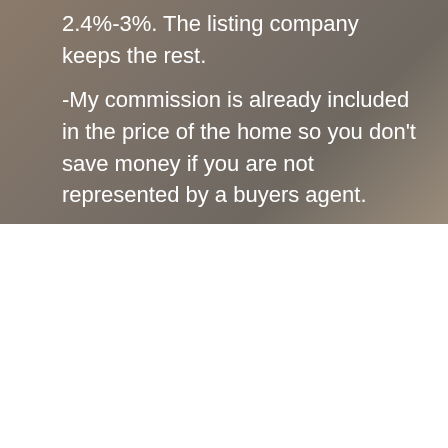2.4%-3%. The listing company keeps the rest.
-My commission is already included in the price of the home so you don't save money if you are not represented by a buyers agent.
-Builders will also pay my fee if you let them know you are represented and include me in the first or early visit.